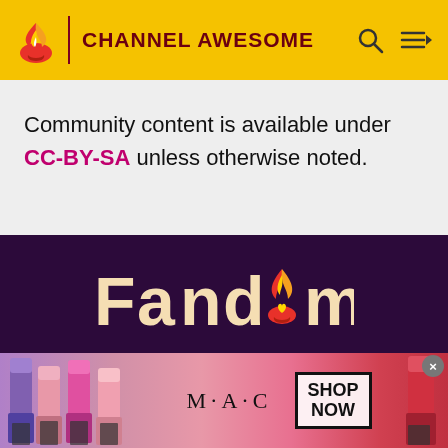CHANNEL AWESOME
Community content is available under CC-BY-SA unless otherwise noted.
[Figure (logo): Fandom logo with flame icon and heart, white/cream text on dark purple background]
EXPLORE PROPERTIES
Fandom    Futhead
[Figure (photo): MAC cosmetics advertisement banner showing lipsticks, MAC logo, and SHOP NOW button]